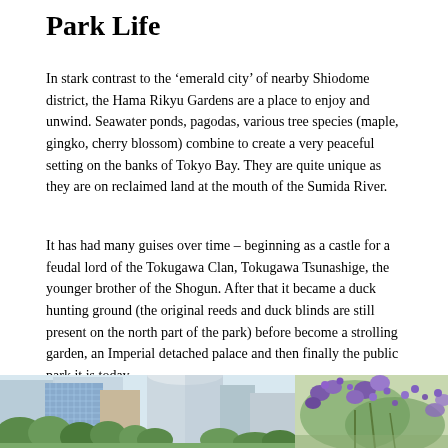Park Life
In stark contrast to the ‘emerald city’ of nearby Shiodome district, the Hama Rikyu Gardens are a place to enjoy and unwind. Seawater ponds, pagodas, various tree species (maple, gingko, cherry blossom) combine to create a very peaceful setting on the banks of Tokyo Bay. They are quite unique as they are on reclaimed land at the mouth of the Sumida River.
It has had many guises over time – beginning as a castle for a feudal lord of the Tokugawa Clan, Tokugawa Tsunashige, the younger brother of the Shogun. After that it became a duck hunting ground (the original reeds and duck blinds are still present on the north part of the park) before become a strolling garden, an Imperial detached palace and then finally the public park it is today.
[Figure (photo): Left: city skyline with modern glass skyscrapers and green trees in foreground (Shiodome district buildings). Right top: close-up of purple flowering plant (wisteria or similar). Right bottom: partial view of buildings.]